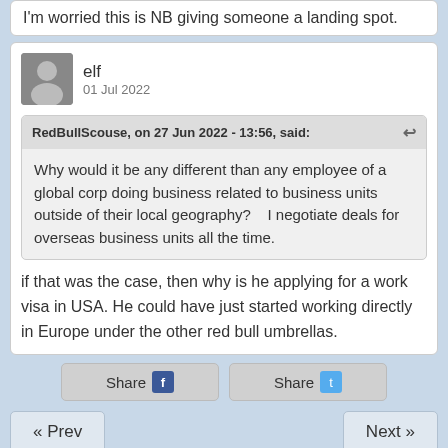I'm worried this is NB giving someone a landing spot.
elf
01 Jul 2022
RedBullScouse, on 27 Jun 2022 - 13:56, said:
Why would it be any different than any employee of a global corp doing business related to business units outside of their local geography?    I negotiate deals for overseas business units all the time.
if that was the case, then why is he applying for a work visa in USA. He could have just started working directly in Europe under the other red bull umbrellas.
Share
Share
« Prev
Next »
Get the IPS Communities App for iPhone now!
Full Version